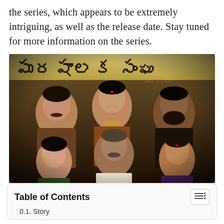the series, which appears to be extremely intriguing, as well as the release date. Stay tuned for more information on the series.
[Figure (photo): Movie promotional poster featuring six actors/characters with serious expressions against a dark background. A Telugu language banner text is visible at the top of the image.]
| Table of Contents |
| 0.1. Story |